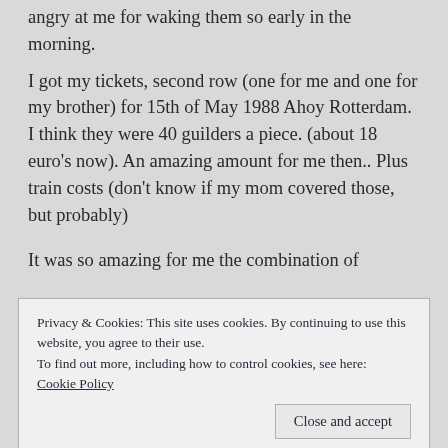angry at me for waking them so early in the morning.
I got my tickets, second row (one for me and one for my brother) for 15th of May 1988 Ahoy Rotterdam. I think they were 40 guilders a piece. (about 18 euro's now). An amazing amount for me then.. Plus train costs (don't know if my mom covered those, but probably)
It was so amazing for me the combination of
Privacy & Cookies: This site uses cookies. By continuing to use this website, you agree to their use.
To find out more, including how to control cookies, see here: Cookie Policy
Close and accept
I d